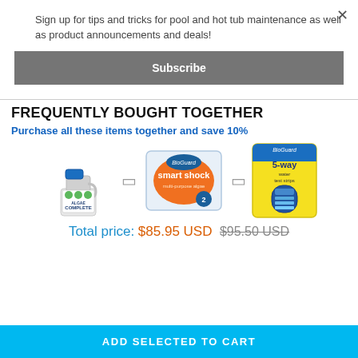Sign up for tips and tricks for pool and hot tub maintenance as well as product announcements and deals!
Subscribe
FREQUENTLY BOUGHT TOGETHER
Purchase all these items together and save 10%
[Figure (photo): Three pool chemical products: BioGuard Algae Complete bottle, BioGuard Smart Shock packet, BioGuard 5-Way test strips]
Total price: $85.95 USD $95.50 USD
ADD SELECTED TO CART